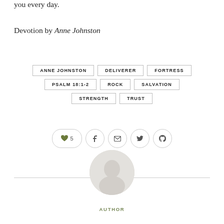you every day.
Devotion by Anne Johnston
ANNE JOHNSTON
DELIVERER
FORTRESS
PSALM 18:1-2
ROCK
SALVATION
STRENGTH
TRUST
[Figure (illustration): Circular author photo placeholder, gray toned portrait]
AUTHOR